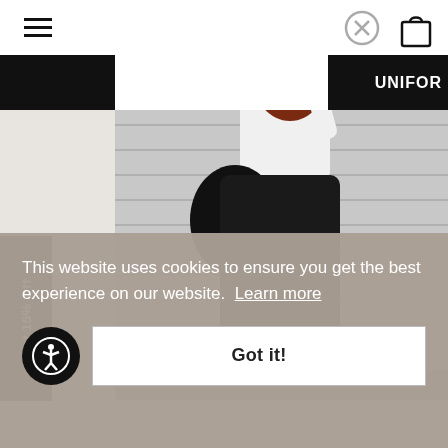[Figure (screenshot): Website screenshot showing a fashion e-commerce page with a model wearing a white crop top and black maxi parachute pants with Adidas sneakers, standing in front of a grey metal shutter. She holds a black bag and wears headphones. The page has a black header bar with hamburger menu and bag icon, a close (X) button near the top right, and a 'Get 15% Off' vertical tab on the left side. A cookie consent banner overlays the bottom of the page with text: 'This website uses cookies to ensure you get the best experience on our website. Learn more' and a 'Got it!' button. An accessibility icon is also visible. Partial text 'UNIFOR' is visible in the top right header.]